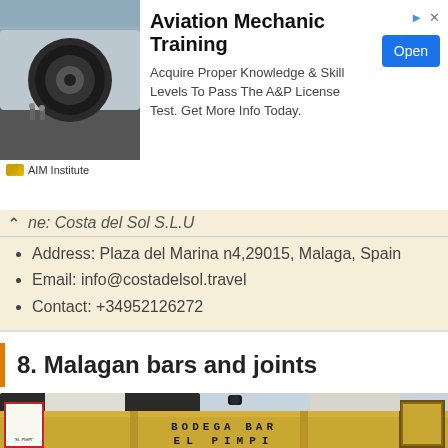[Figure (photo): Aviation mechanics / jet engine airport photo used in ad banner]
Aviation Mechanic Training
Acquire Proper Knowledge & Skill Levels To Pass The A&P License Test. Get More Info Today.
AIM Institute
ne: Costa del Sol S.L.U
Address: Plaza del Marina n4,29015, Malaga, Spain
Email: info@costadelsol.travel
Contact: +34952126272
8. Malagan bars and joints
[Figure (photo): Photo of Bodega Bar El Pimpi exterior facade in Malaga, Spain, showing signage and framed artwork]